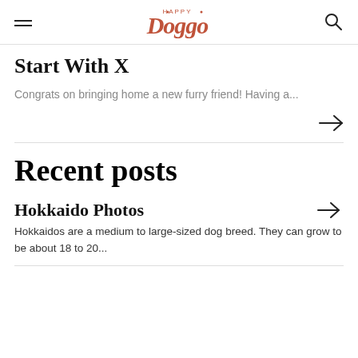HAPPY Doggo (navigation header with hamburger menu and search icon)
Start With X
Congrats on bringing home a new furry friend! Having a...
Recent posts
Hokkaido Photos
Hokkaidos are a medium to large-sized dog breed. They can grow to be about 18 to 20...